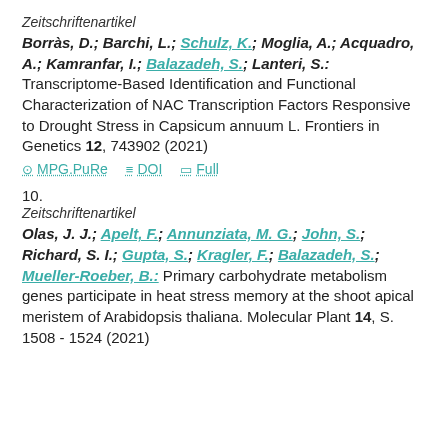Zeitschriftenartikel
Borràs, D.; Barchi, L.; Schulz, K.; Moglia, A.; Acquadro, A.; Kamranfar, I.; Balazadeh, S.; Lanteri, S.: Transcriptome-Based Identification and Functional Characterization of NAC Transcription Factors Responsive to Drought Stress in Capsicum annuum L. Frontiers in Genetics 12, 743902 (2021)
MPG.PuRe   DOI   Full
10.
Zeitschriftenartikel
Olas, J. J.; Apelt, F.; Annunziata, M. G.; John, S.; Richard, S. I.; Gupta, S.; Kragler, F.; Balazadeh, S.; Mueller-Roeber, B.: Primary carbohydrate metabolism genes participate in heat stress memory at the shoot apical meristem of Arabidopsis thaliana. Molecular Plant 14, S. 1508 - 1524 (2021)